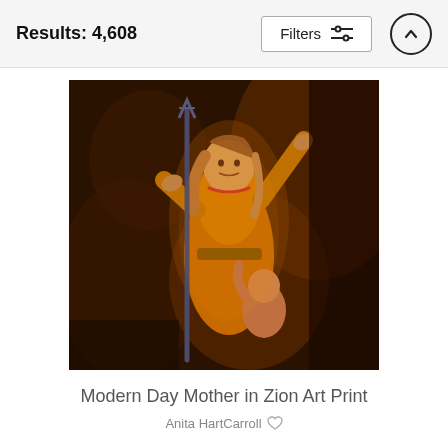Results: 4,608
[Figure (illustration): Painting of a woman in an orange dress holding a staff/trident, reaching upward with one hand, with a child clinging to her from behind, set against a dark brown dramatic background — 'Modern Day Mother in Zion Art Print' by Anita HartCarroll]
Modern Day Mother in Zion Art Print
Anita HartCarroll ♡